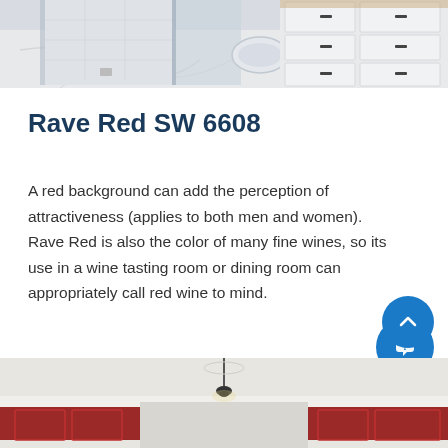[Figure (photo): Bathroom interior with marble tile floor, glass shower enclosure with white walls, and white cabinetry with dark hardware]
Rave Red SW 6608
A red background can add the perception of attractiveness (applies to both men and women). Rave Red is also the color of many fine wines, so its use in a wine tasting room or dining room can appropriately call red wine to mind.
[Figure (photo): Dining room interior with red walls, white crown molding, and pendant light fixture hanging from ceiling]